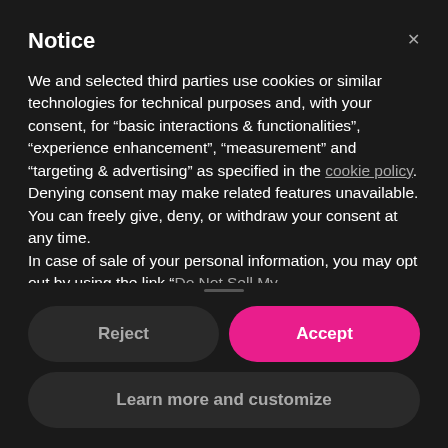Notice
We and selected third parties use cookies or similar technologies for technical purposes and, with your consent, for “basic interactions & functionalities”, “experience enhancement”, “measurement” and “targeting & advertising” as specified in the cookie policy. Denying consent may make related features unavailable.
You can freely give, deny, or withdraw your consent at any time.
In case of sale of your personal information, you may opt out by using the link “Do Not Sell My
Reject
Accept
Learn more and customize